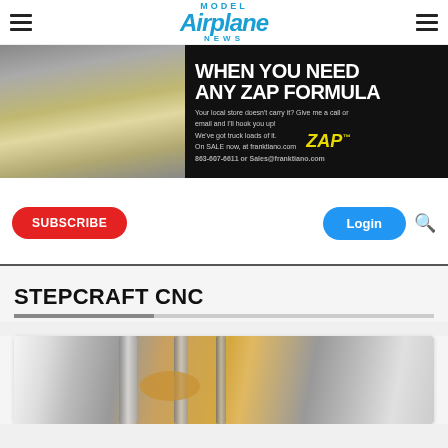Model Airplane News
[Figure (photo): Advertisement banner for ZAP formula adhesives at franktiano.com. Shows a man in a black shirt holding a ZAP product next to a model airplane wing. Text reads: WHEN YOU NEED ANY ZAP FORMULA. Your local store doesn't carry it? Give me a call or email and I'll hook you up! We've got truck loads of it. On SALE now, at franktiano.com. 863-607-6611 or Sales@franktiano.com]
SUBSCRIBE
Login
STEPCRAFT CNC
[Figure (photo): Close-up photo of a Stepcraft CNC machine showing metallic spindle and orange colored machine body]